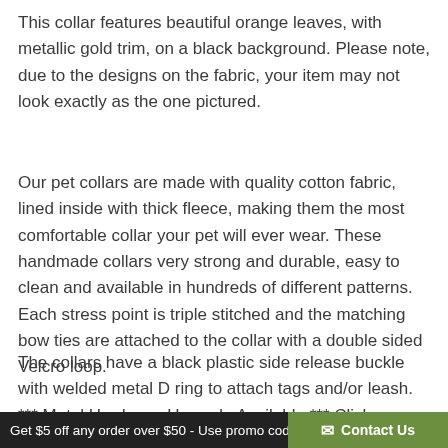This collar features beautiful orange leaves, with metallic gold trim, on a black background. Please note, due to the designs on the fabric, your item may not look exactly as the one pictured.
Our pet collars are made with quality cotton fabric, lined inside with thick fleece, making them the most comfortable collar your pet will ever wear. These handmade collars very strong and durable, easy to clean and available in hundreds of different patterns. Each stress point is triple stitched and the matching bow ties are attached to the collar with a double sided Velcro loop.
The collars have a black plastic side release buckle with welded metal D ring to attach tags and/or leash. *** Metal Hardware Upgrade Available *** Click
Get $5 off any order over $50 - Use promo cod… Contact Us …t!